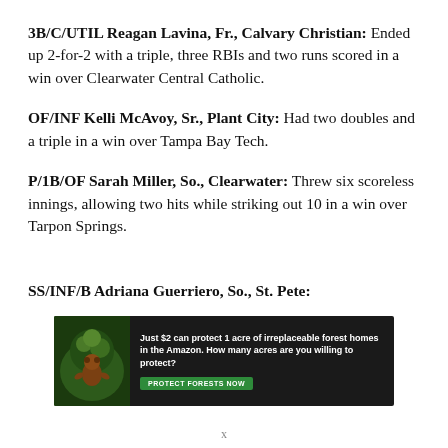3B/C/UTIL Reagan Lavina, Fr., Calvary Christian: Ended up 2-for-2 with a triple, three RBIs and two runs scored in a win over Clearwater Central Catholic.
OF/INF Kelli McAvoy, Sr., Plant City: Had two doubles and a triple in a win over Tampa Bay Tech.
P/1B/OF Sarah Miller, So., Clearwater: Threw six scoreless innings, allowing two hits while striking out 10 in a win over Tarpon Springs.
SS/INF/B Adriana Guerriero, So., St. Pete: [partial, cut off]
[Figure (infographic): Advertisement banner: 'Just $2 can protect 1 acre of irreplaceable forest homes in the Amazon. How many acres are you willing to protect?' with a Protect Forests Now button and a background image of forest/wildlife.]